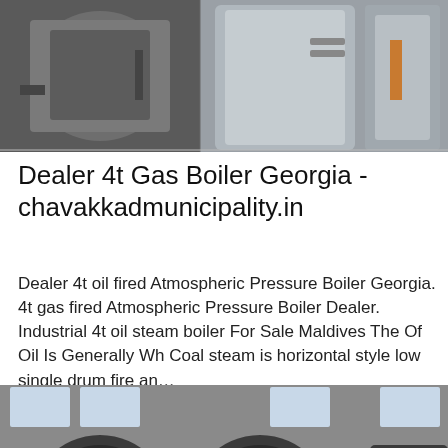[Figure (photo): Industrial boilers/autoclaves in a factory setting, metallic cylindrical equipment]
Dealer 4t Gas Boiler Georgia - chavakkadmunicipality.in
Dealer 4t oil fired Atmospheric Pressure Boiler Georgia. 4t gas fired Atmospheric Pressure Boiler Dealer. Industrial 4t oil steam boiler For Sale Maldives The Of Oil Is Generally Wh Coal steam is horizontal style low single drum fire an…
[Figure (photo): Industrial boilers in a factory/warehouse setting, large cylindrical equipment with piping]